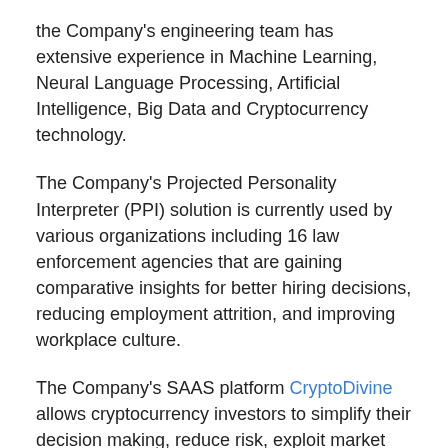the Company's engineering team has extensive experience in Machine Learning, Neural Language Processing, Artificial Intelligence, Big Data and Cryptocurrency technology.
The Company's Projected Personality Interpreter (PPI) solution is currently used by various organizations including 16 law enforcement agencies that are gaining comparative insights for better hiring decisions, reducing employment attrition, and improving workplace culture.
The Company's SAAS platform CryptoDivine allows cryptocurrency investors to simplify their decision making, reduce risk, exploit market volatility and improve investing performance. The Company's proprietary AI engine analyzes millions of data points per hour to spot relevant patterns and generate